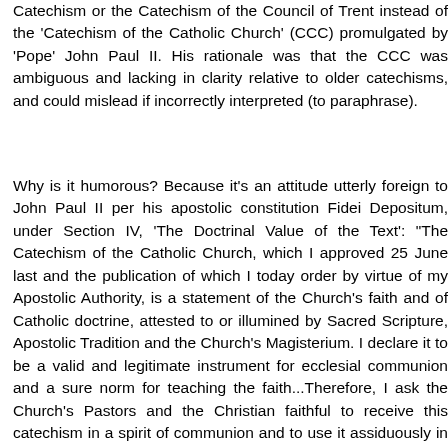Catechism or the Catechism of the Council of Trent instead of the 'Catechism of the Catholic Church' (CCC) promulgated by 'Pope' John Paul II. His rationale was that the CCC was ambiguous and lacking in clarity relative to older catechisms, and could mislead if incorrectly interpreted (to paraphrase).
Why is it humorous? Because it's an attitude utterly foreign to John Paul II per his apostolic constitution Fidei Depositum, under Section IV, 'The Doctrinal Value of the Text': "The Catechism of the Catholic Church, which I approved 25 June last and the publication of which I today order by virtue of my Apostolic Authority, is a statement of the Church's faith and of Catholic doctrine, attested to or illumined by Sacred Scripture, Apostolic Tradition and the Church's Magisterium. I declare it to be a valid and legitimate instrument for ecclesial communion and a sure norm for teaching the faith...Therefore, I ask the Church's Pastors and the Christian faithful to receive this catechism in a spirit of communion and to use it assiduously in fulfilling their mission of proclaiming the faith and calling people to the Gospel life. This catechism is given to them that it may serve as...